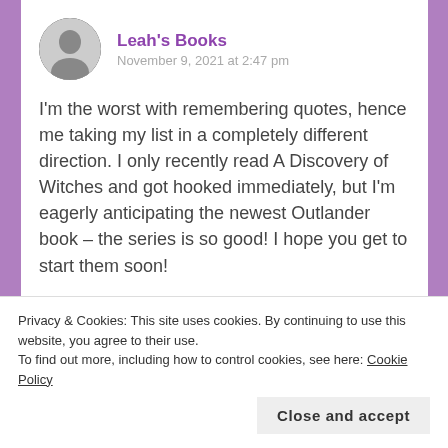Leah's Books
November 9, 2021 at 2:47 pm
I'm the worst with remembering quotes, hence me taking my list in a completely different direction. I only recently read A Discovery of Witches and got hooked immediately, but I'm eagerly anticipating the newest Outlander book – the series is so good! I hope you get to start them soon!
Privacy & Cookies: This site uses cookies. By continuing to use this website, you agree to their use.
To find out more, including how to control cookies, see here: Cookie Policy
Close and accept